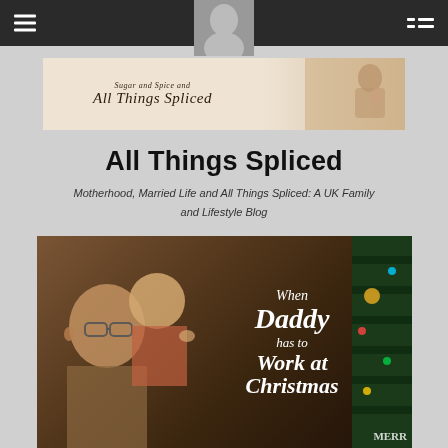Navigation bar with hamburger menu, center avatar, and list icon
[Figure (illustration): Blog banner image with cursive text reading 'Sugar and Spice and All Things Spliced' on a warm beige/cream background with a sepia photo of a woman and child on the right side]
All Things Spliced
Motherhood, Married Life and All Things Spliced: A UK Family and Lifestyle Blog
[Figure (photo): Featured article photo showing a man with glasses and a toddler looking at a Christmas tree, with overlaid white text reading 'When Daddy has to Work at Christmas' and Christmas tree decorations visible on the right. A 'Merry' Christmas decoration is partially visible.]